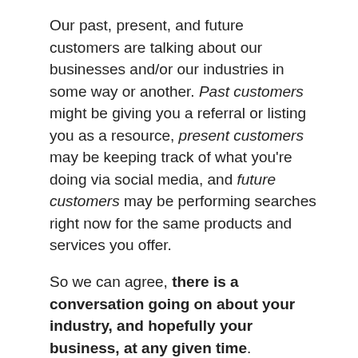Our past, present, and future customers are talking about our businesses and/or our industries in some way or another. Past customers might be giving you a referral or listing you as a resource, present customers may be keeping track of what you're doing via social media, and future customers may be performing searches right now for the same products and services you offer.
So we can agree, there is a conversation going on about your industry, and hopefully your business, at any given time.
With all this talking going on, are you listening? Are you keeping track of what's being said and searched? Are you joining in the conversation, either directly or indirectly?